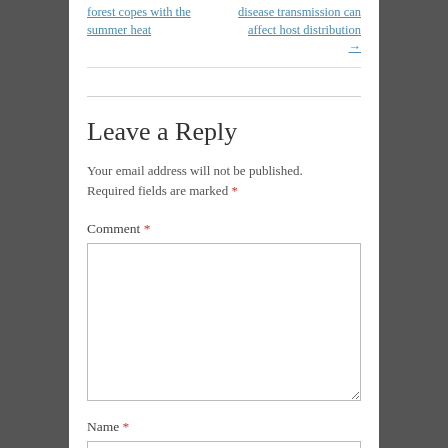forest copes with the summer heat
disease transmission can affect host distribution →
Leave a Reply
Your email address will not be published. Required fields are marked *
Comment *
Name *